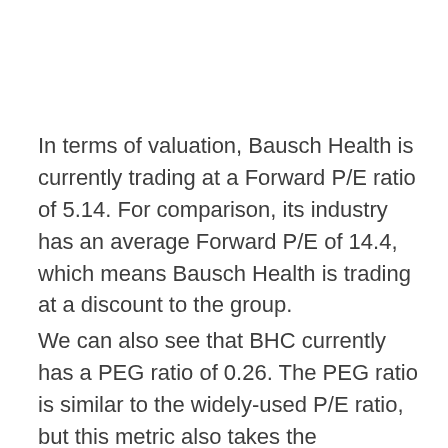In terms of valuation, Bausch Health is currently trading at a Forward P/E ratio of 5.14. For comparison, its industry has an average Forward P/E of 14.4, which means Bausch Health is trading at a discount to the group.
We can also see that BHC currently has a PEG ratio of 0.26. The PEG ratio is similar to the widely-used P/E ratio, but this metric also takes the company's expected earnings growth rate into account. The Medical –